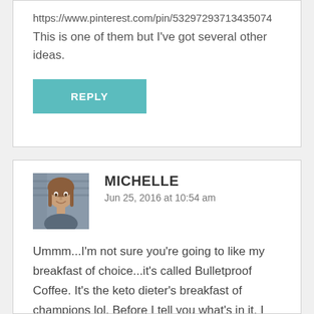https://www.pinterest.com/pin/53297293713435074
This is one of them but I've got several other ideas.
[Figure (other): Teal REPLY button]
MICHELLE
Jun 25, 2016 at 10:54 am
[Figure (photo): Profile photo of Michelle, a woman with shoulder-length hair]
Ummm...I'm not sure you're going to like my breakfast of choice...it's called Bulletproof Coffee. It's the keto dieter's breakfast of champions lol. Before I tell you what's in it, I
have to tell you it tastes like a good latte and really does keep me full until lunch. It's one